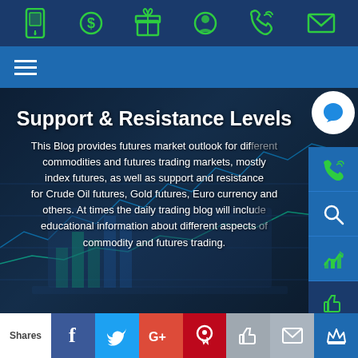Navigation icon bar with phone, dollar, gift, user, call, email icons
[Figure (screenshot): Hero banner with financial chart background showing Support & Resistance Levels heading and descriptive text about futures market outlook]
Support & Resistance Levels
This Blog provides futures market outlook for different commodities and futures trading markets, mostly index futures, as well as support and resistance for Crude Oil futures, Gold futures, Euro currency and others. At times the daily trading blog will include educational information about different aspects of commodity and futures trading.
Future Trading > Tools > Daily Support & Resistance Levels
Shares | Facebook | Twitter | Google+ | Pinterest | Like | Email | Crown